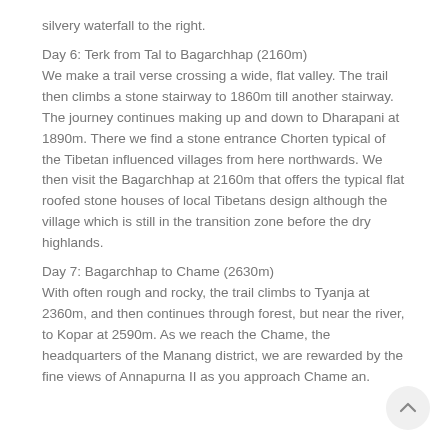silvery waterfall to the right.
Day 6: Terk from Tal to Bagarchhap (2160m)
We make a trail verse crossing a wide, flat valley. The trail then climbs a stone stairway to 1860m till another stairway. The journey continues making up and down to Dharapani at 1890m. There we find a stone entrance Chorten typical of the Tibetan influenced villages from here northwards. We then visit the Bagarchhap at 2160m that offers the typical flat roofed stone houses of local Tibetans design although the village which is still in the transition zone before the dry highlands.
Day 7: Bagarchhap to Chame (2630m)
With often rough and rocky, the trail climbs to Tyanja at 2360m, and then continues through forest, but near the river, to Kopar at 2590m. As we reach the Chame, the headquarters of the Manang district, we are rewarded by the fine views of Annapurna II as you approach Chame an...